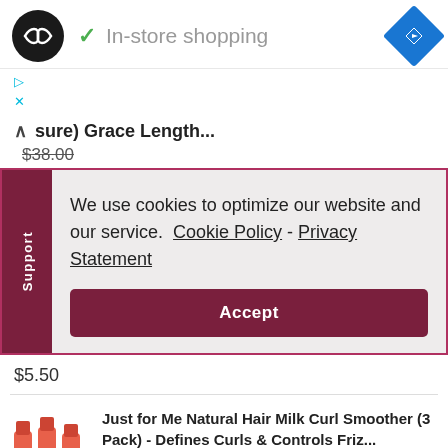[Figure (screenshot): Top navigation bar with black circular logo containing double-arrow icon, green checkmark with grey 'In-store shopping' text, and blue diamond navigation icon on the right]
▷
✕
∧  sure) Grace Length...
$38.00
We use cookies to optimize our website and our service.  Cookie Policy - Privacy Statement
Accept
$5.50
Just for Me Natural Hair Milk Curl Smoother (3 Pack) - Defines Curls & Controls Friz...